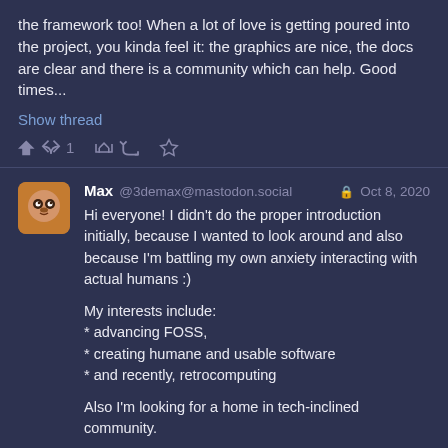the framework too! When a lot of love is getting poured into the project, you kinda feel it: the graphics are nice, the docs are clear and there is a community which can help. Good times...
Show thread
↩ 1  🔁  ★
Max @3demax@mastodon.social  🔒 Oct 8, 2020
Hi everyone! I didn't do the proper introduction initially, because I wanted to look around and also because I'm battling my own anxiety interacting with actual humans :)

My interests include:
* advancing FOSS,
* creating humane and usable software
* and recently, retrocomputing

Also I'm looking for a home in tech-inclined community.